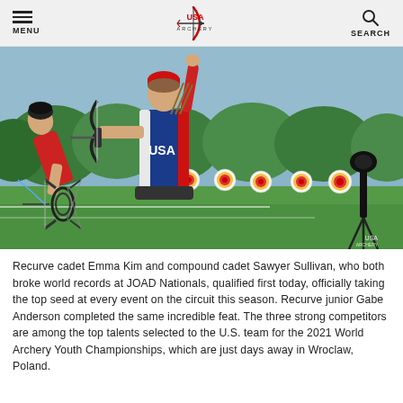MENU | USA Archery | SEARCH
[Figure (photo): Two archers on an outdoor range. Left archer in red jersey bending forward holding a compound bow. Right archer in blue/white USA jersey with arm raised after releasing. Archery targets visible in background on green grass.]
Recurve cadet Emma Kim and compound cadet Sawyer Sullivan, who both broke world records at JOAD Nationals, qualified first today, officially taking the top seed at every event on the circuit this season. Recurve junior Gabe Anderson completed the same incredible feat. The three strong competitors are among the top talents selected to the U.S. team for the 2021 World Archery Youth Championships, which are just days away in Wroclaw, Poland.